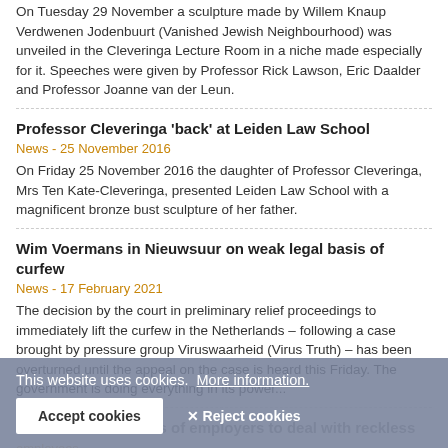On Tuesday 29 November a sculpture made by Willem Knaup Verdwenen Jodenbuurt (Vanished Jewish Neighbourhood) was unveiled in the Cleveringa Lecture Room in a niche made especially for it. Speeches were given by Professor Rick Lawson, Eric Daalder and Professor Joanne van der Leun.
Professor Cleveringa 'back' at Leiden Law School
News - 25 November 2016
On Friday 25 November 2016 the daughter of Professor Cleveringa, Mrs Ten Kate-Cleveringa, presented Leiden Law School with a magnificent bronze bust sculpture of her father.
Wim Voermans in Nieuwsuur on weak legal basis of curfew
News - 17 February 2021
The decision by the court in preliminary relief proceedings to immediately lift the curfew in the Netherlands – following a case brought by pressure group Viruswaarheid (Virus Truth) – has been overturned until the appeal on the case is heard this Friday. The government is doing everything in its power...
Coronavirus: Powers of employers to deal with reckless
This website uses cookies.  More information.
Accept cookies   ✕ Reject cookies